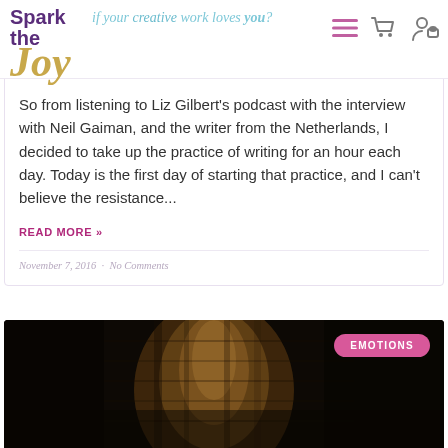Spark the Joy | if your creative work loves you?
So from listening to Liz Gilbert's podcast with the interview with Neil Gaiman, and the writer from the Netherlands, I decided to take up the practice of writing for an hour each day. Today is the first day of starting that practice, and I can't believe the resistance...
READ MORE »
November 7, 2016  ·  No Comments
[Figure (photo): Dark atmospheric photo of an ancient stone wall or carving with an EMOTIONS badge overlay in pink]